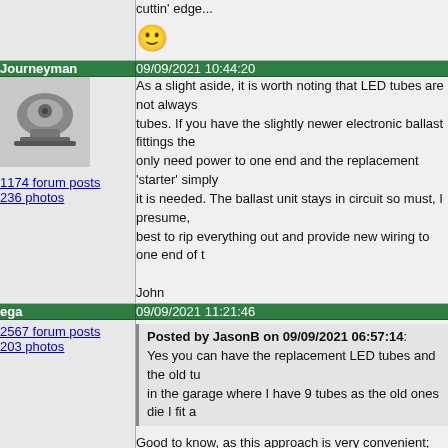cuttin' edge...
[Figure (illustration): Yellow smiley face emoji]
Journeyman | 09/09/2021 10:44:20
[Figure (photo): User avatar showing a mechanical/engineering machine]
1174 forum posts
236 photos
As a slight aside, it is worth noting that LED tubes are not always a direct replacement for fluorescent tubes. If you have the slightly newer electronic ballast fittings the replacement LED tubes only need power to one end and the replacement 'starter' simply bypasses the ballast when it is needed. The ballast unit stays in circuit so must, I presume, be best to rip everything out and provide new wiring to one end of t

John
ega | 09/09/2021 11:21:46
2567 forum posts
203 photos
Posted by JasonB on 09/09/2021 06:57:14:
Yes you can have the replacement LED tubes and the old tu in the garage where I have 9 tubes as the old ones die I fit a

Good to know, as this approach is very convenient; the replacem expensive, however, compared with the new units when I last be flux at the moment.

Journeyman:

Does it follow that an old unit with pre-electronic ballast is more
Journeyman | 09/09/2021 11:40:20